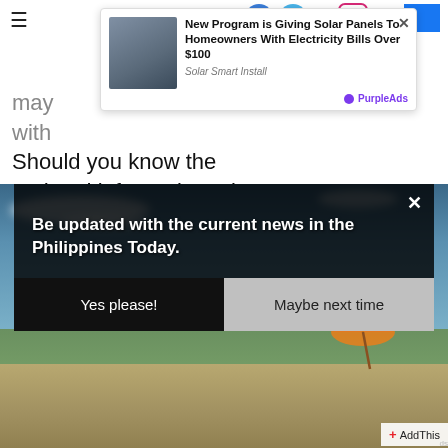☰ [navigation icons]
[Figure (photo): Advertisement banner: woman in black suit with American flag, Solar panels ad - 'New Program is Giving Solar Panels To Homeowners With Electricity Bills Over $100' from Solar Smart Install, PurpleAds]
may [partially obscured] with [partially obscured] Should you know the updated information, please message us on Facebook.
[Figure (photo): Push notification popup over beach photo: 'Be updated with the current news in the Philippines Today.' with Yes please! and Maybe next time buttons. Beach/ocean background with orange umbrella.]